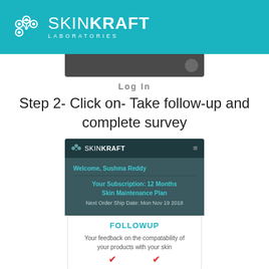[Figure (logo): SkinKraft Laboratories logo on teal header bar]
[Figure (screenshot): Top partial screenshot of SkinKraft app showing dark top bar with circle icon]
Log In
Step 2- Click on- Take follow-up and complete survey
[Figure (screenshot): SkinKraft app screenshot showing welcome screen for Sushma Reddy with 12 Months Skin Maintenance Plan subscription and Next Order Ship Date Mon Nov 19 2018, with FOLLOWUP card below showing feedback text and red arrows]